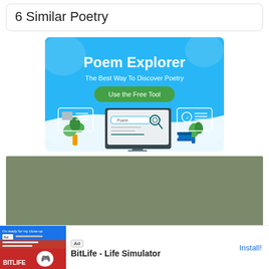6 Similar Poetry
[Figure (infographic): Poem Explorer advertisement banner. Blue background with white text 'Poem Explorer', subtitle 'The Best Way To Discover Poetry', green button 'Use the Free Tool', and illustration of a computer monitor with a search bar showing 'Poem' and a magnifying glass, surrounded by plants and books.]
[Figure (other): Gray/olive colored advertisement placeholder banner.]
[Figure (other): Mobile app advertisement for BitLife - Life Simulator. Shows ad label, app icon with sperm on red background, app name 'BitLife - Life Simulator', and 'Install!' link in blue.]